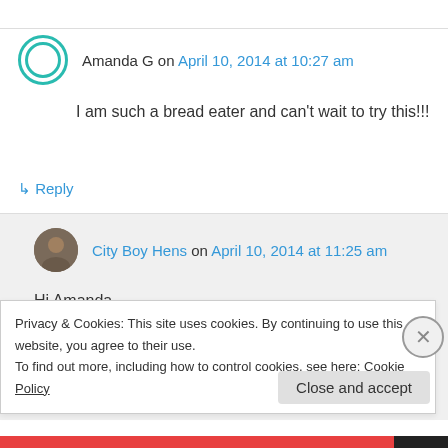Amanda G on April 10, 2014 at 10:27 am
I am such a bread eater and can't wait to try this!!!
↳ Reply
City Boy Hens on April 10, 2014 at 11:25 am
Hi Amanda
Privacy & Cookies: This site uses cookies. By continuing to use this website, you agree to their use.
To find out more, including how to control cookies, see here: Cookie Policy
Close and accept